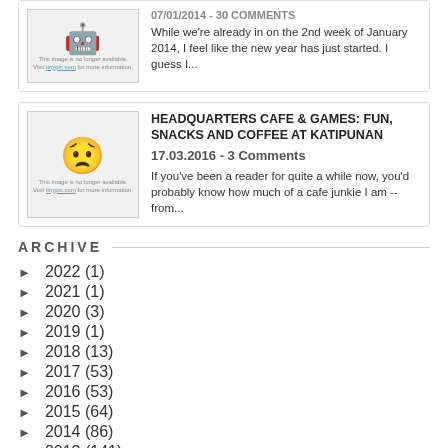07/01/2014 - 30 COMMENTS
While we're already in on the 2nd week of January 2014, I feel like the new year has just started. I guess I...
HEADQUARTERS CAFE & GAMES: FUN, SNACKS AND COFFEE AT KATIPUNAN
17.03.2016 - 3 Comments
If you've been a reader for quite a while now, you'd probably know how much of a cafe junkie I am -- from...
ARCHIVE
► 2022 (1)
► 2021 (1)
► 2020 (3)
► 2019 (1)
► 2018 (13)
► 2017 (53)
► 2016 (53)
► 2015 (64)
► 2014 (86)
► 2013 (141)